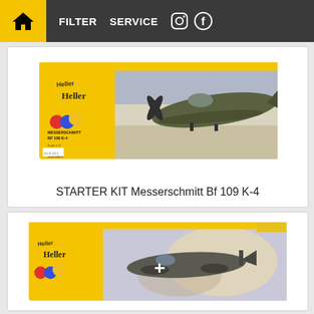FILTER   SERVICE
[Figure (photo): Product image of Heller STARTER KIT Messerschmitt Bf 109 K-4 model kit box with yellow packaging and illustration of WWII aircraft]
STARTER KIT Messerschmitt Bf 109 K-4
[Figure (photo): Product image of another Heller model kit box with yellow packaging showing a WWII aircraft in combat scene]